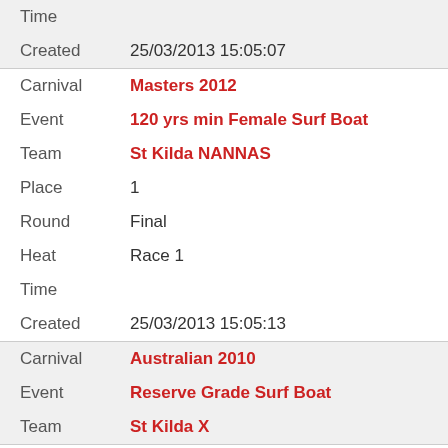| Field | Value |
| --- | --- |
| Time |  |
| Created | 25/03/2013 15:05:07 |
| Carnival | Masters 2012 |
| Event | 120 yrs min Female Surf Boat |
| Team | St Kilda NANNAS |
| Place | 1 |
| Round | Final |
| Heat | Race 1 |
| Time |  |
| Created | 25/03/2013 15:05:13 |
| Carnival | Australian 2010 |
| Event | Reserve Grade Surf Boat |
| Team | St Kilda X |